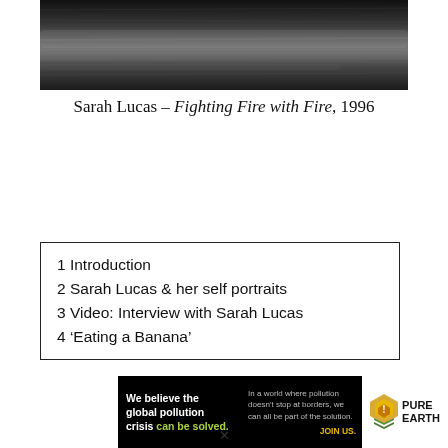[Figure (photo): Black and white close-up photograph, partial figure, dark tones]
Sarah Lucas – Fighting Fire with Fire, 1996
1 Introduction
2 Sarah Lucas & her self portraits
3 Video: Interview with Sarah Lucas
4 'Eating a Banana'
[Figure (infographic): Pure Earth advertisement banner: 'We believe the global pollution crisis can be solved.' with tagline about pollution not stopping at borders and JOIN US call to action, with Pure Earth logo.]